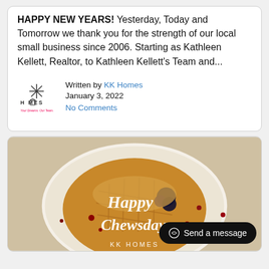HAPPY NEW YEARS! Yesterday, Today and Tomorrow we thank you for the strength of our local small business since 2006. Starting as Kathleen Kellett, Realtor, to Kathleen Kellett's Team and...
Written by KK Homes
January 3, 2022
No Comments
[Figure (photo): A waffle with blueberries and toppings on a plate, with 'Happy Chewsday' text overlaid in white script, and a KK Homes logo at the bottom.]